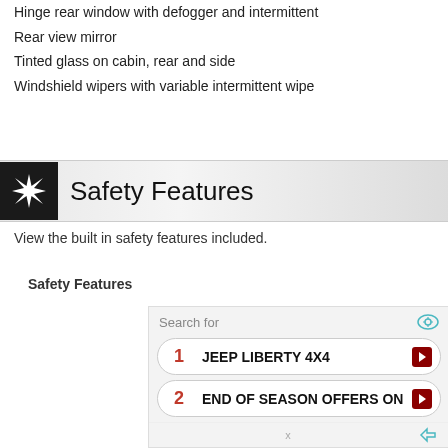Hinge rear window with defogger and intermittent
Rear view mirror
Tinted glass on cabin, rear and side
Windshield wipers with variable intermittent wipe
Safety Features
View the built in safety features included.
Safety Features
Search for
1  JEEP LIBERTY 4X4
2  END OF SEASON OFFERS ON